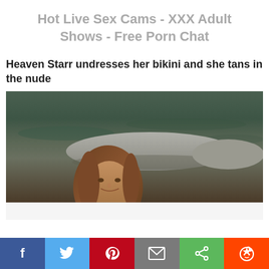Hot Live Sex Cams - XXX Adult Shows - Free Porn Chat
Heaven Starr undresses her bikini and she tans in the nude
[Figure (photo): Woman with long brown hair partially submerged near a large rock in an outdoor water setting, looking at camera]
Social share bar: Facebook, Twitter, Pinterest, Email, Share, Reddit